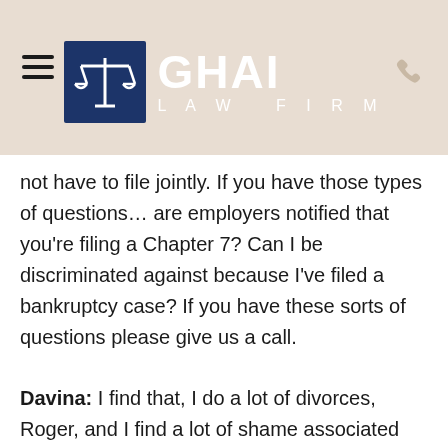GHAI LAW FIRM
not have to file jointly. If you have those types of questions… are employers notified that you're filing a Chapter 7? Can I be discriminated against because I've filed a bankruptcy case? If you have these sorts of questions please give us a call.
Davina: I find that, I do a lot of divorces, Roger, and I find a lot of shame associated with people consulting with an attorney about bankruptcy. I don't do bankruptcies, but at the end of divorce cases, often times, my clients need to consult with a bankruptcy attorney. Is